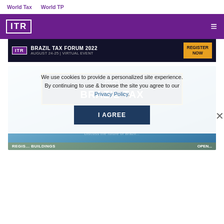World Tax    World TP
[Figure (logo): ITR logo in white on purple header bar with hamburger menu icon]
[Figure (screenshot): Banner ad: ITR Brazil Tax Forum 2022 – August 24-25 | Virtual Event – Register Now]
[Figure (screenshot): Brazil Tax Forum 2022 event card showing ITR logo, 'BRAZIL TAX' title, 'FORUM 2022' subtitle, with register open banner at bottom]
We use cookies to provide a personalized site experience. By continuing to use & browse the site you agree to our Privacy Policy.
I AGREE